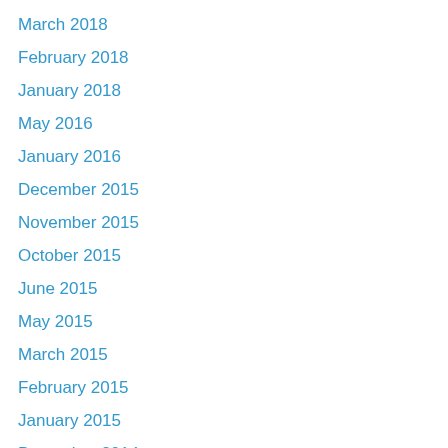March 2018
February 2018
January 2018
May 2016
January 2016
December 2015
November 2015
October 2015
June 2015
May 2015
March 2015
February 2015
January 2015
December 2014
November 2014
October 2014
September 2014
August 2014
July 2014
June 2014